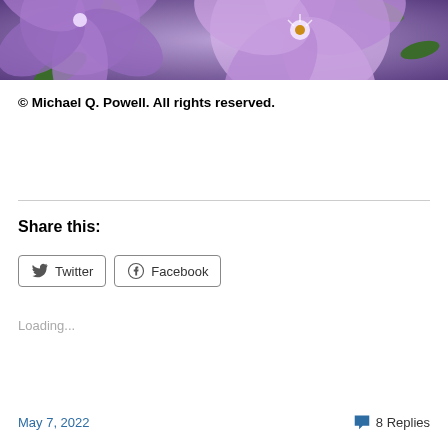[Figure (photo): Close-up photograph of purple/lavender flowers with petals and leaves visible]
© Michael Q. Powell. All rights reserved.
Share this:
Twitter
Facebook
Loading...
May 7, 2022   8 Replies